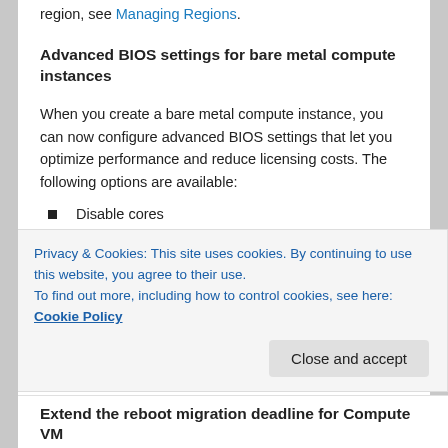region, see Managing Regions.
Advanced BIOS settings for bare metal compute instances
When you create a bare metal compute instance, you can now configure advanced BIOS settings that let you optimize performance and reduce licensing costs. The following options are available:
Disable cores
Customize NUMA settings
Disable simultaneous multithreading
Enable or disable access control service
Enable or disable virtualization instructions
Privacy & Cookies: This site uses cookies. By continuing to use this website, you agree to their use.
To find out more, including how to control cookies, see here: Cookie Policy
Extend the reboot migration deadline for Compute VM